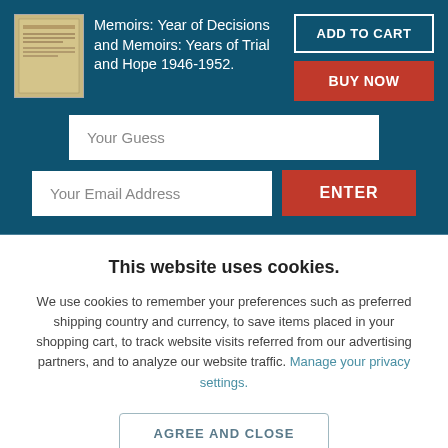[Figure (illustration): Book cover thumbnail for Memoirs]
Memoirs: Year of Decisions and Memoirs: Years of Trial and Hope 1946-1952.
ADD TO CART
BUY NOW
Your Guess
Your Email Address
ENTER
This website uses cookies.
We use cookies to remember your preferences such as preferred shipping country and currency, to save items placed in your shopping cart, to track website visits referred from our advertising partners, and to analyze our website traffic. Manage your privacy settings.
AGREE AND CLOSE